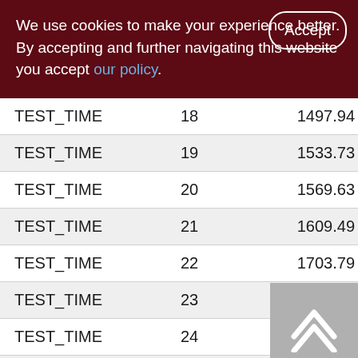We use cookies to make your experience better. By accepting and further navigating this website you accept our policy.
|  |  |  |
| --- | --- | --- |
| TEST_TIME | 18 | 1497.94 |
| TEST_TIME | 19 | 1533.73 |
| TEST_TIME | 20 | 1569.63 |
| TEST_TIME | 21 | 1609.49 |
| TEST_TIME | 22 | 1703.79 |
| TEST_TIME | 23 | 1765.48 |
| TEST_TIME | 24 | 1836.70 |
| TEST_TIME | 25 | 1868.45 |
| TEST_TIME | 26 |  |